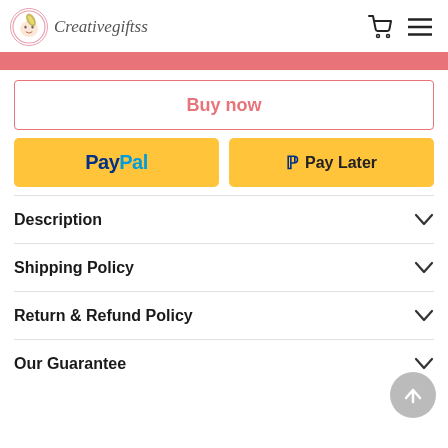Creativegiftss
[Figure (screenshot): Pink horizontal bar (add to cart progress or promotional banner)]
Buy now
[Figure (infographic): PayPal and Pay Later payment buttons in yellow]
Description
Shipping Policy
Return & Refund Policy
Our Guarantee